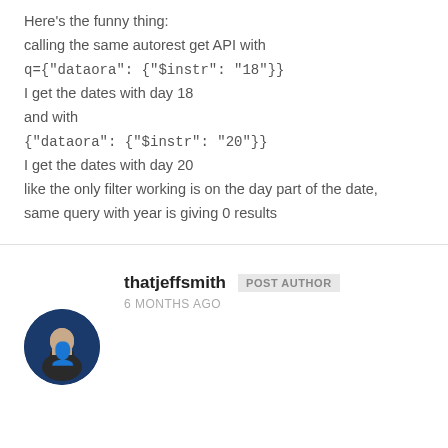Here's the funny thing:
calling the same autorest get API with
q={"dataora": {"$instr": "18"}}
I get the dates with day 18
and with
{"dataora": {"$instr": "20"}}
I get the dates with day 20
like the only filter working is on the day part of the date,
same query with year is giving 0 results
[Figure (photo): Circular avatar photo of user thatjeffsmith, showing a person in a dark jacket against a blue background]
thatjeffsmith POST AUTHOR
6 MONTHS AGO